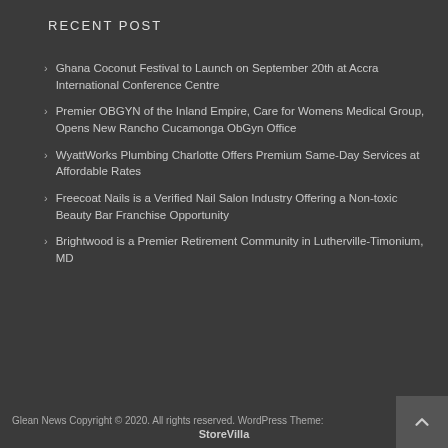RECENT POST
Ghana Coconut Festival to Launch on September 20th at Accra International Conference Centre
Premier OBGYN of the Inland Empire, Care for Womens Medical Group, Opens New Rancho Cucamonga ObGyn Office
WyattWorks Plumbing Charlotte Offers Premium Same-Day Services at Affordable Rates
Freecoat Nails is a Verified Nail Salon Industry Offering a Non-toxic Beauty Bar Franchise Opportunity
Brightwood is a Premier Retirement Community in Lutherville-Timonium, MD
Glean News Copyright © 2020. All rights reserved. WordPress Theme: StoreVilla